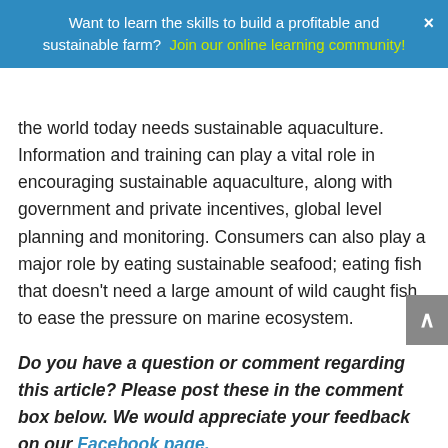Want to learn the skills to build a profitable and sustainable farm?  Join our online learning community!
the world today needs sustainable aquaculture. Information and training can play a vital role in encouraging sustainable aquaculture, along with government and private incentives, global level planning and monitoring. Consumers can also play a major role by eating sustainable seafood; eating fish that doesn't need a large amount of wild caught fish to ease the pressure on marine ecosystem.
Do you have a question or comment regarding this article? Please post these in the comment box below. We would appreciate your feedback on our Facebook page.